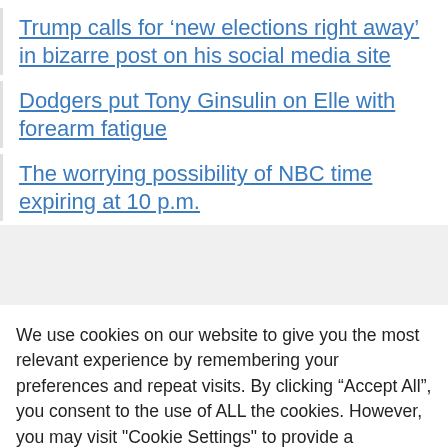Trump calls for 'new elections right away' in bizarre post on his social media site
Dodgers put Tony Ginsulin on Elle with forearm fatigue
The worrying possibility of NBC time expiring at 10 p.m.
We use cookies on our website to give you the most relevant experience by remembering your preferences and repeat visits. By clicking “Accept All”, you consent to the use of ALL the cookies. However, you may visit "Cookie Settings" to provide a controlled consent.